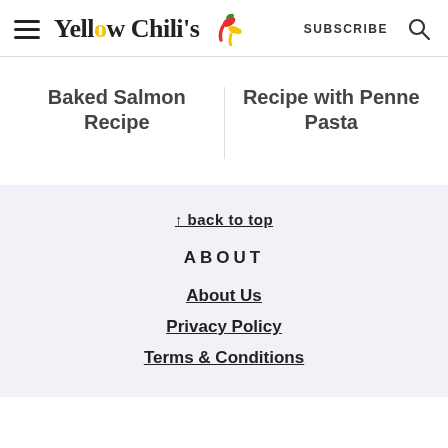Yellow Chili's | SUBSCRIBE | Search
Baked Salmon Recipe
Recipe with Penne Pasta
↑ back to top
ABOUT
About Us
Privacy Policy
Terms & Conditions